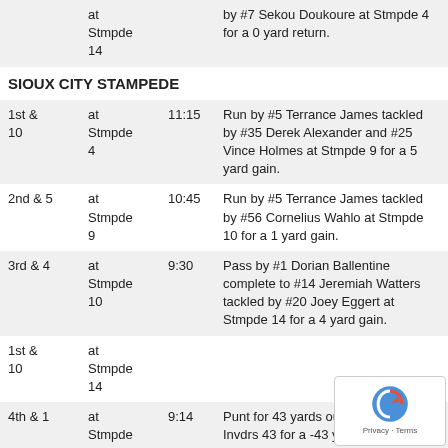| Down | Position | Time | Description |
| --- | --- | --- | --- |
|  | at Stmpde 14 |  | by #7 Sekou Doukoure at Stmpde 4 for a 0 yard return. |
| 1st & 10 | at Stmpde 4 | 11:15 | Run by #5 Terrance James tackled by #35 Derek Alexander and #25 Vince Holmes at Stmpde 9 for a 5 yard gain. |
| 2nd & 5 | at Stmpde 9 | 10:45 | Run by #5 Terrance James tackled by #56 Cornelius Wahlo at Stmpde 10 for a 1 yard gain. |
| 3rd & 4 | at Stmpde 10 | 9:30 | Pass by #1 Dorian Ballentine complete to #14 Jeremiah Watters tackled by #20 Joey Eggert at Stmpde 14 for a 4 yard gain. |
| 1st & 10 | at Stmpde 14 |  |  |
| 4th & 1 | at Stmpde | 9:14 | Punt for 43 yards out of bounds Invdrs 43 for a -43 yard return. |
SIOUX CITY STAMPEDE